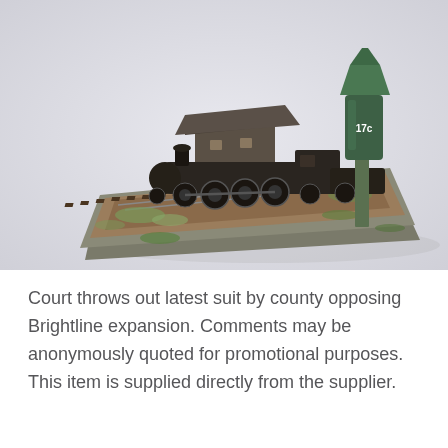[Figure (photo): A miniature model train diorama featuring a dark steam locomotive with a station building and a green water tower labeled '17c', set on a scenic base with grass, gravel, and railroad tracks.]
Court throws out latest suit by county opposing Brightline expansion. Comments may be anonymously quoted for promotional purposes. This item is supplied directly from the supplier.